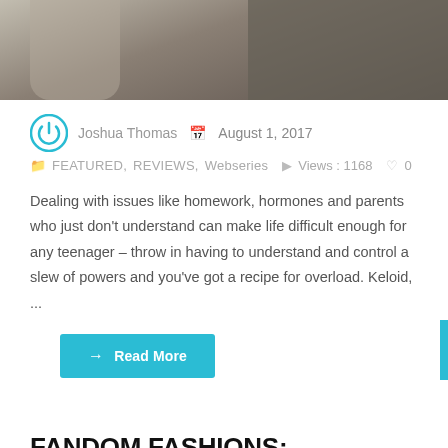[Figure (photo): Partial photo showing a person in a jacket, cropped to show upper body/back, muted olive/tan tones]
Joshua Thomas  August 1, 2017
FEATURED, REVIEWS, Webseries   Views : 1168   0
Dealing with issues like homework, hormones and parents who just don't understand can make life difficult enough for any teenager – throw in having to understand and control a slew of powers and you've got a recipe for overload. Keloid, ...
→ Read More
FANDOM FASHIONS: Valerian and the City of a Thousand Planets